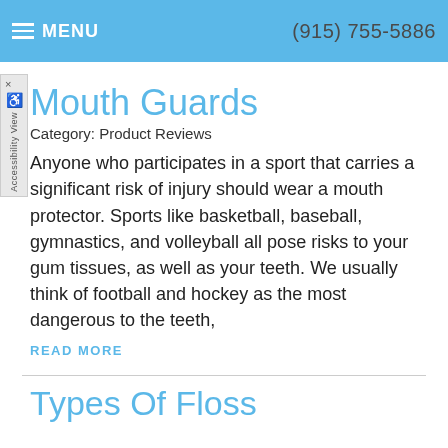MENU  (915) 755-5886
Mouth Guards
Category: Product Reviews
Anyone who participates in a sport that carries a significant risk of injury should wear a mouth protector. Sports like basketball, baseball, gymnastics, and volleyball all pose risks to your gum tissues, as well as your teeth. We usually think of football and hockey as the most dangerous to the teeth,
READ MORE
Types Of Floss